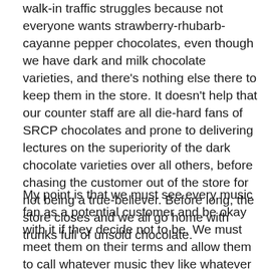walk-in traffic struggles because not everyone wants strawberry-rhubarb-cayanne pepper chocolates, even though we have dark and milk chocolate varieties, and there's nothing else there to keep them in the store. It doesn't help that our counter staff are all die-hard fans of SRCP chocolates and prone to delivering lectures on the superiority of the dark chocolate varieties over all others, before chasing the customer out of the store for not being a true-believer. Before long, the store closes and we all go home with trunks full of unsold chocolate.
My point is that we must see every music fan as a potential customer and be okay with it if they decide not to be. We must meet them on their terms and allow them to call whatever music they like whatever they want. We can't afford to turn those people off today because they could be new fans tomorrow. We should embrace the fact that